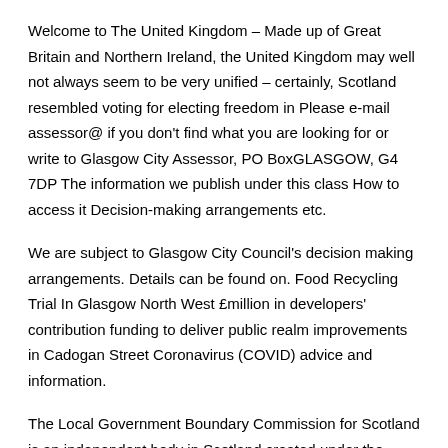Welcome to The United Kingdom – Made up of Great Britain and Northern Ireland, the United Kingdom may well not always seem to be very unified – certainly, Scotland resembled voting for electing freedom in Please e-mail assessor@ if you don't find what you are looking for or write to Glasgow City Assessor, PO BoxGLASGOW, G4 7DP The information we publish under this class How to access it Decision-making arrangements etc.
We are subject to Glasgow City Council's decision making arrangements. Details can be found on. Food Recycling Trial In Glasgow North West £million in developers' contribution funding to deliver public realm improvements in Cadogan Street Coronavirus (COVID) advice and information.
The Local Government Boundary Commission for Scotland is an independent body in Scotland created under the Local Government (Scotland) Act According to its website, it is responsible for: carrying out reviews of boundaries of local authority areas; reviews of electoral arrangements for local a.